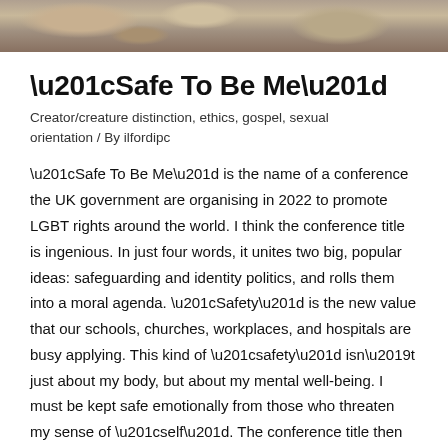[Figure (photo): A cropped photo strip at the top of the page showing what appears to be an animal (possibly a small mammal or bird) in a natural outdoor setting with earthy brown and tan tones.]
“Safe To Be Me”
Creator/creature distinction, ethics, gospel, sexual orientation / By ilfordipc
“Safe To Be Me” is the name of a conference the UK government are organising in 2022 to promote LGBT rights around the world. I think the conference title is ingenious. In just four words, it unites two big, popular ideas: safeguarding and identity politics, and rolls them into a moral agenda. “Safety” is the new value that our schools, churches, workplaces, and hospitals are busy applying. This kind of “safety” isn’t just about my body, but about my mental well-being. I must be kept safe emotionally from those who threaten my sense of “self”. The conference title then cleverly wraps identity politics up in that safety. Of course, who wouldn’t want to be safe